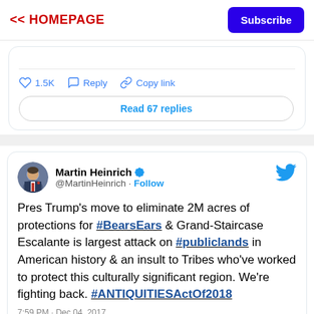<< HOMEPAGE | Subscribe
[Figure (screenshot): Partial tweet showing like count 1.5K, Reply, Copy link actions and a 'Read 67 replies' button]
[Figure (screenshot): Tweet by Martin Heinrich @MartinHeinrich: Pres Trump's move to eliminate 2M acres of protections for #BearsEars & Grand-Staircase Escalante is largest attack on #publiclands in American history & an insult to Tribes who've worked to protect this culturally significant region. We're fighting back. #ANTIQUITIESActOf2018]